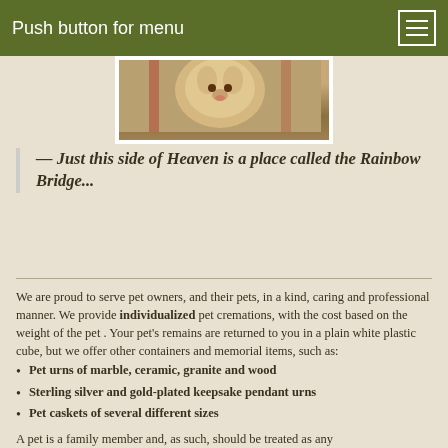Push button for menu
[Figure (photo): Photo of a cat or pet, partially visible at top of page]
— Just this side of Heaven is a place called the Rainbow Bridge...
We are proud to serve pet owners, and their pets, in a kind, caring and professional manner. We provide individualized pet cremations, with the cost based on the weight of the pet . Your pet's remains are returned to you in a plain white plastic cube, but we offer other containers and memorial items, such as:
Pet urns of marble, ceramic, granite and wood
Sterling silver and gold-plated keepsake pendant urns
Pet caskets of several different sizes
A pet is a family member and, as such, should be treated as any